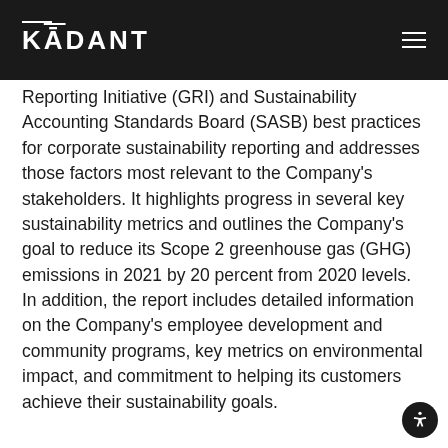KADANT
Reporting Initiative (GRI) and Sustainability Accounting Standards Board (SASB) best practices for corporate sustainability reporting and addresses those factors most relevant to the Company's stakeholders. It highlights progress in several key sustainability metrics and outlines the Company's goal to reduce its Scope 2 greenhouse gas (GHG) emissions in 2021 by 20 percent from 2020 levels. In addition, the report includes detailed information on the Company's employee development and community programs, key metrics on environmental impact, and commitment to helping its customers achieve their sustainability goals.